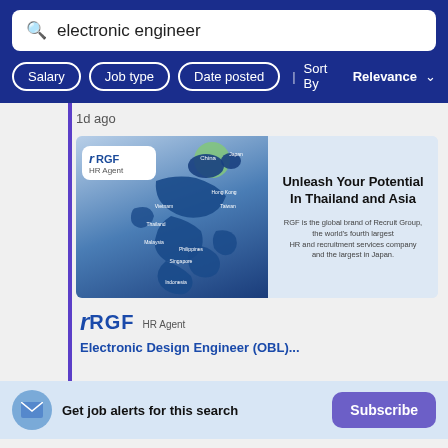electronic engineer
Salary | Job type | Date posted | Sort By Relevance
1d ago
[Figure (screenshot): RGF HR Agent advertisement banner showing a map of Asia with country labels (China, Japan, Hong Kong, Taiwan, Vietnam, Thailand, Malaysia, Singapore, Philippines, Indonesia) and text: Unleash Your Potential In Thailand and Asia. RGF is the global brand of Recruit Group, the world's fourth largest HR and recruitment services company and the largest in Japan.]
[Figure (logo): RGF HR Agent logo in blue]
Electronic Design Engineer (OBL)...
Get job alerts for this search
Subscribe